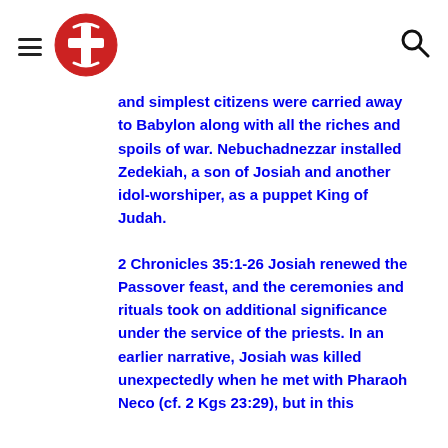and simplest citizens were carried away to Babylon along with all the riches and spoils of war. Nebuchadnezzar installed Zedekiah, a son of Josiah and another idol-worshiper, as a puppet King of Judah.
2 Chronicles 35:1-26 Josiah renewed the Passover feast, and the ceremonies and rituals took on additional significance under the service of the priests. In an earlier narrative, Josiah was killed unexpectedly when he met with Pharaoh Neco (cf. 2 Kgs 23:29), but in this